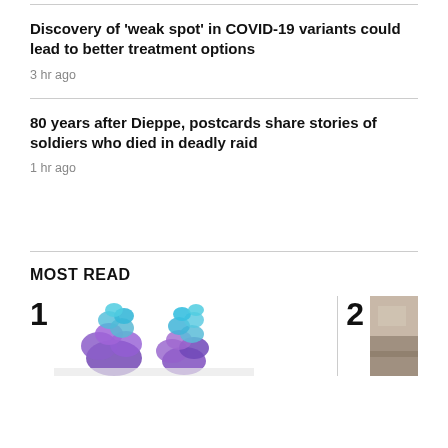Discovery of 'weak spot' in COVID-19 variants could lead to better treatment options
3 hr ago
80 years after Dieppe, postcards share stories of soldiers who died in deadly raid
1 hr ago
MOST READ
[Figure (photo): Number 1 most read item with molecule/protein illustration in blue and purple]
[Figure (photo): Number 2 most read item with partial room/interior photo]